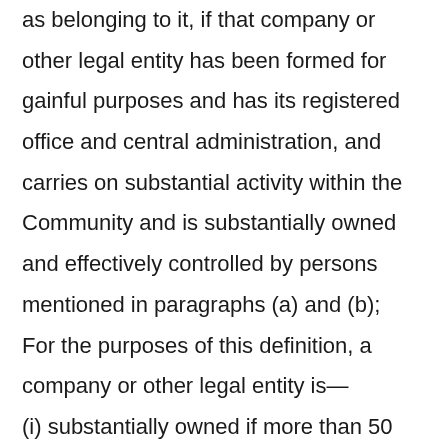as belonging to it, if that company or other legal entity has been formed for gainful purposes and has its registered office and central administration, and carries on substantial activity within the Community and is substantially owned and effectively controlled by persons mentioned in paragraphs (a) and (b); For the purposes of this definition, a company or other legal entity is— (i) substantially owned if more than 50 percent of the equity interest in the company or entity is beneficially owned by a person mentioned in paragraphs (a) and (b);